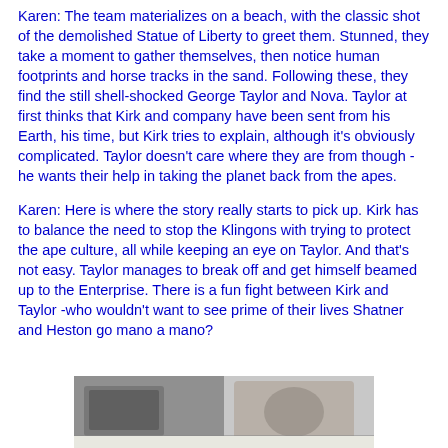Karen: The team materializes on a beach, with the classic shot of the demolished Statue of Liberty to greet them. Stunned, they take a moment to gather themselves, then notice human footprints and horse tracks in the sand. Following these, they find the still shell-shocked George Taylor and Nova. Taylor at first thinks that Kirk and company have been sent from his Earth, his time, but Kirk tries to explain, although it's obviously complicated. Taylor doesn't care where they are from though -he wants their help in taking the planet back from the apes.
Karen: Here is where the story really starts to pick up. Kirk has to balance the need to stop the Klingons with trying to protect the ape culture, all while keeping an eye on Taylor. And that's not easy. Taylor manages to break off and get himself beamed up to the Enterprise. There is a fun fight between Kirk and Taylor -who wouldn't want to see prime of their lives Shatner and Heston go mano a mano?
[Figure (photo): Partial photo visible at the bottom of the page, appears to show some objects on a surface, image is cropped.]